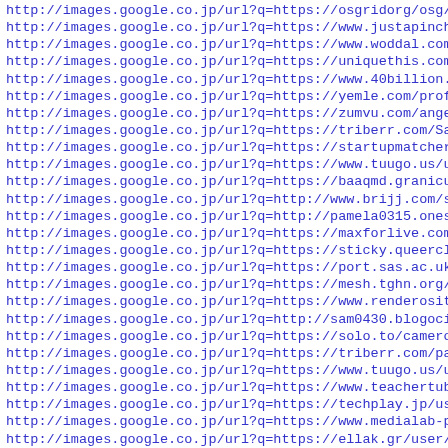http://images.google.co.jp/url?q=https://osgridorg/osg/...
http://images.google.co.jp/url?q=https://www.justapinch.com
http://images.google.co.jp/url?q=https://www.woddal.com/mis
http://images.google.co.jp/url?q=https://uniquethis.com/pro
http://images.google.co.jp/url?q=https://www.40billion.com/
http://images.google.co.jp/url?q=https://yemle.com/profile/
http://images.google.co.jp/url?q=https://zumvu.com/angel58c
http://images.google.co.jp/url?q=https://triberr.com/Sam043
http://images.google.co.jp/url?q=https://startupmatcher.com
http://images.google.co.jp/url?q=https://www.tuugo.us/userP
http://images.google.co.jp/url?q=https://baaqmd.granicuside
http://images.google.co.jp/url?q=http://www.brijj.com/sam04
http://images.google.co.jp/url?q=http://pamela0315.onesmabl
http://images.google.co.jp/url?q=https://maxforlive.com/pro
http://images.google.co.jp/url?q=https://sticky.queerclick.
http://images.google.co.jp/url?q=https://port.sas.ac.uk/use
http://images.google.co.jp/url?q=https://mesh.tghn.org/comm
http://images.google.co.jp/url?q=https://www.renderosity.co
http://images.google.co.jp/url?q=http://sam0430.blogocial.c
http://images.google.co.jp/url?q=https://solo.to/cameron031
http://images.google.co.jp/url?q=https://triberr.com/pamela
http://images.google.co.jp/url?q=https://www.tuugo.us/userP
http://images.google.co.jp/url?q=https://www.teachertube.co
http://images.google.co.jp/url?q=https://techplay.jp/user/a
http://images.google.co.jp/url?q=https://www.medialab-prado
http://images.google.co.jp/url?q=https://ellak.gr/user/mari
http://images.google.co.jp/url?q=https://www.inkitt.com/mar
http://images.google.co.jp/url?q=https://www.dday.it/profil
http://images.google.co.jp/url?q=https://www.maliweb.net/au
http://images.google.co.jp/url?q=https://www.education-ecos